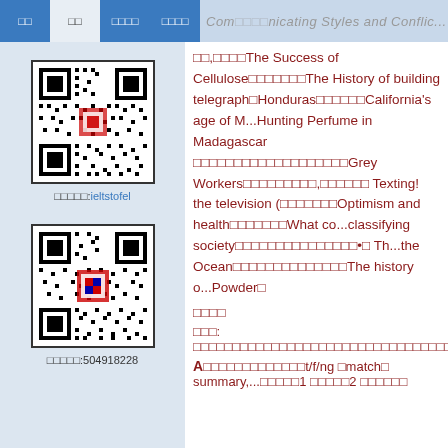Communicating Styles and Conflic...
□□,□□□□The Success of Cellulose□□□□□□□The History of building telegraph□Honduras□□□□□□California's age of M...Hunting Perfume in Madagascar □□□□□□□□□□□□□□□□□□□Grey Workers□□□□□□□□□,□□□□□□ Texting! the television (□□□□□□□Optimism and health□□□□□□□What co...classifying society□□□□□□□□□□□□□□□•□ Th...the Ocean□□□□□□□□□□□□□□The history o...Powder□
□□□□
□□□: □□□□□□□□□□□□□□□□□□□□□□□□□□□□□□□□□□□□□...City(□□□□□□)□□□□□□□□□□□□□□□□□:□□□□□□□□□□□□□□□□□□□□□□□□□□□□□□□□□□□□□□
A□□□□□□□□□□□□□t/f/ng □match□ summary,...□□□□□1 □□□□□2 □□□□□□
[Figure (other): QR code for ieltstofel, a WeChat or similar social account]
[Figure (other): QR code for QQ group 504918228]